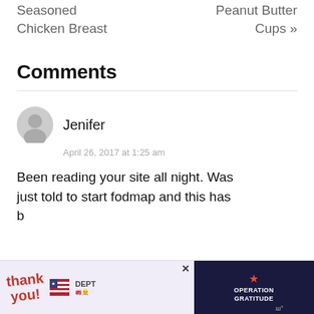Seasoned Chicken Breast
Peanut Butter Cups »
Comments
Jenifer
April 26, 2017 at 1:25 am
Been reading your site all night. Was just told to start fodmap and this has b...
[Figure (photo): Advertisement banner: Thank You with American flag imagery on left, Operation Gratitude logo on right]